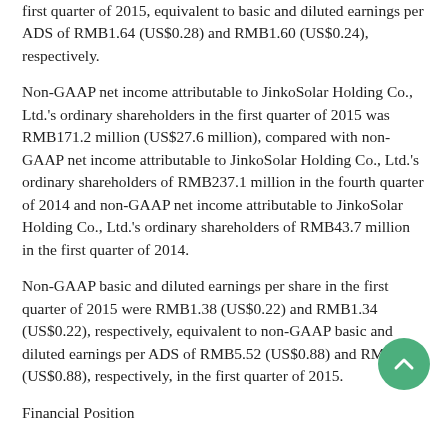first quarter of 2015, equivalent to basic and diluted earnings per ADS of RMB1.64 (US$0.28) and RMB1.60 (US$0.24), respectively.
Non-GAAP net income attributable to JinkoSolar Holding Co., Ltd.'s ordinary shareholders in the first quarter of 2015 was RMB171.2 million (US$27.6 million), compared with non-GAAP net income attributable to JinkoSolar Holding Co., Ltd.'s ordinary shareholders of RMB237.1 million in the fourth quarter of 2014 and non-GAAP net income attributable to JinkoSolar Holding Co., Ltd.'s ordinary shareholders of RMB43.7 million in the first quarter of 2014.
Non-GAAP basic and diluted earnings per share in the first quarter of 2015 were RMB1.38 (US$0.22) and RMB1.34 (US$0.22), respectively, equivalent to non-GAAP basic and diluted earnings per ADS of RMB5.52 (US$0.88) and RMB5.36 (US$0.88), respectively, in the first quarter of 2015.
Financial Position